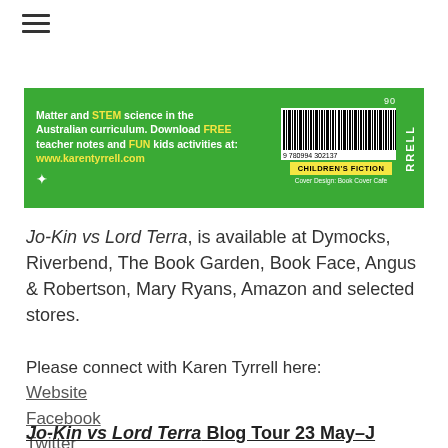[Figure (photo): Book back cover image on green background with barcode, CHILDREN'S FICTION label, and text about Matter and STEM science, with website www.karentyrrell.com. Vertical text 'RRELL' on right side.]
Jo-Kin vs Lord Terra, is available at Dymocks, Riverbend, The Book Garden, Book Face, Angus & Robertson, Mary Ryans, Amazon and selected stores.
Please connect with Karen Tyrrell here:
Website
Facebook
Twitter
Jo-Kin vs Lord Terra Blog Tour 23 May–J